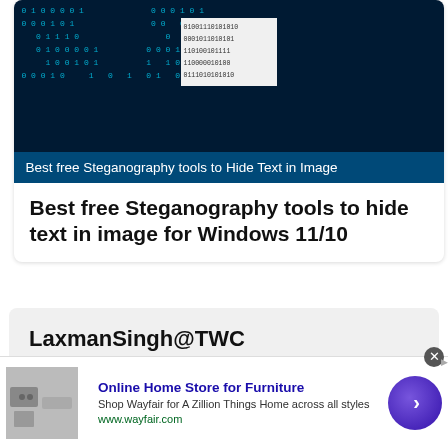[Figure (screenshot): Dark navy background with binary code (0s and 1s) pattern and a white card overlay showing binary text in the center, with overlay text reading 'Best free Steganography tools to Hide Text in Image']
Best free Steganography tools to hide text in image for Windows 11/10
LaxmanSingh@TWC
Laxman enjoys writing about Windows OS and the free software and services that are available for the Windows ecosystem.
[Figure (screenshot): Advertisement banner for Wayfair - Online Home Store for Furniture, with furniture image on left, ad text in center, and circular arrow button on right]